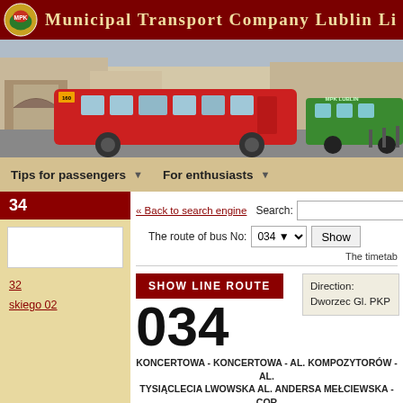Municipal Transport Company Lublin Li...
[Figure (photo): Red city bus (route 160) on a city square in Lublin, with a green bus and historic buildings in background]
Tips for passengers    For enthusiasts
034
« Back to search engine
Search:
The route of bus No: 034  Show
The timetab...
SHOW LINE ROUTE
Direction:
Dworzec Gl. PKP
034
KONCERTOWA - KONCERTOWA - AL. KOMPOZYTORÓW - AL. TYSIĄCLECIA LWOWSKA AL. ANDERSA MEŁCIEWSKA - CORP...